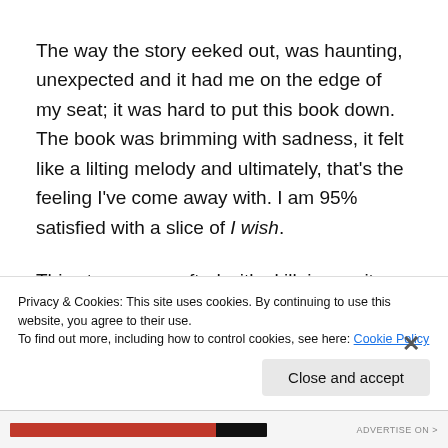The way the story eeked out, was haunting, unexpected and it had me on the edge of my seat; it was hard to put this book down. The book was brimming with sadness, it felt like a lilting melody and ultimately, that's the feeling I've come away with. I am 95% satisfied with a slice of I wish.
This story was crafted with skill, ingenuity and former (and possibly future) reader's tears. The
Privacy & Cookies: This site uses cookies. By continuing to use this website, you agree to their use.
To find out more, including how to control cookies, see here: Cookie Policy